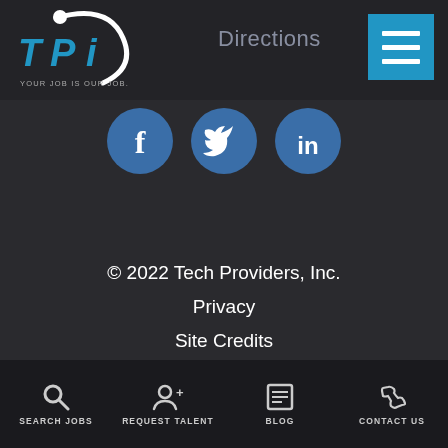[Figure (logo): TPI (Tech Providers Inc) logo with blue lettering and white swoosh arc, tagline YOUR JOB IS OUR JOB.]
Directions
[Figure (infographic): Blue hamburger menu button icon (three white horizontal bars on blue square background)]
[Figure (infographic): Three circular social media icons: Facebook (f), Twitter (bird), LinkedIn (in) — all dark blue circles]
© 2022 Tech Providers, Inc.
Privacy
Site Credits
SEARCH JOBS   REQUEST TALENT   BLOG   CONTACT US